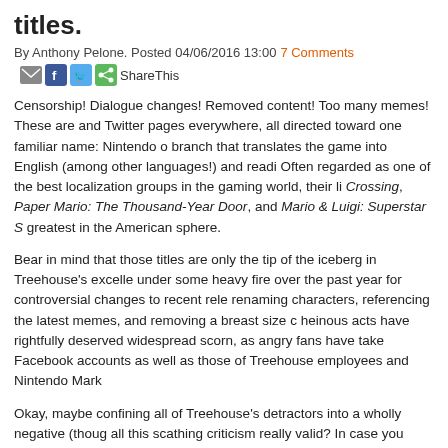titles.
By Anthony Pelone. Posted 04/06/2016 13:00 7 Comments  ShareThis
Censorship! Dialogue changes! Removed content! Too many memes! These are and Twitter pages everywhere, all directed toward one familiar name: Nintendo o branch that translates the game into English (among other languages!) and readi Often regarded as one of the best localization groups in the gaming world, their li Crossing, Paper Mario: The Thousand-Year Door, and Mario & Luigi: Superstar S greatest in the American sphere.
Bear in mind that those titles are only the tip of the iceberg in Treehouse's excelle under some heavy fire over the past year for controversial changes to recent rele renaming characters, referencing the latest memes, and removing a breast size c heinous acts have rightfully deserved widespread scorn, as angry fans have take Facebook accounts as well as those of Treehouse employees and Nintendo Mark
Okay, maybe confining all of Treehouse's detractors into a wholly negative (thoug all this scathing criticism really valid? In case you hadn't read the article's title, I th complaints involved come from those who lack proper understanding of Japanese localization practices (not to mention an abundance of cherrypicking and misplac time to bring those to light. But before I begin my defense, I think we need to ask
What is localization?